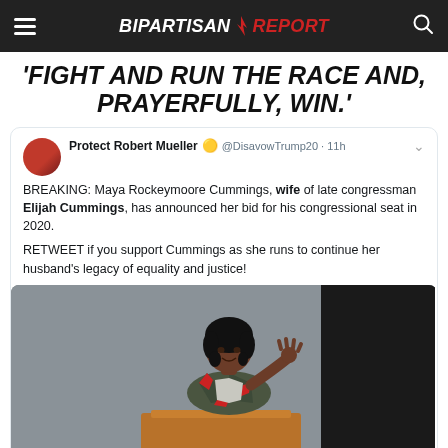BIPARTISAN REPORT
'FIGHT AND RUN THE RACE AND, PRAYERFULLY, WIN.'
Protect Robert Mueller 🟡 @DisavowTrump20 · 11h
BREAKING: Maya Rockeymoore Cummings, wife of late congressman Elijah Cummings, has announced her bid for his congressional seat in 2020.

RETWEET if you support Cummings as she runs to continue her husband's legacy of equality and justice!
[Figure (photo): Photo of Maya R. Cummings, Ph.D. speaking at a podium, wearing a geometric patterned dress with red and grey colors, gesturing with one hand raised.]
Maya R. Cummings, Ph.D.
135 retweets · 151 likes